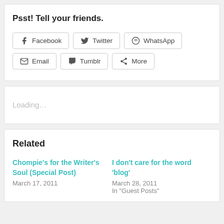Psst! Tell your friends.
[Figure (other): Social sharing buttons: Facebook, Twitter, WhatsApp, Email, Tumblr, More]
Loading...
Related
Chompie's for the Writer's Soul (Special Post)
March 17, 2011
I don't care for the word 'blog'
March 28, 2011
In "Guest Posts"